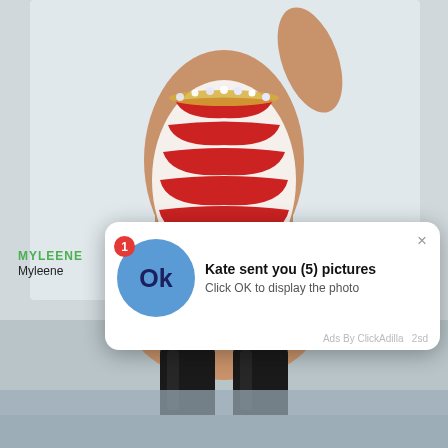[Figure (photo): A woman wearing a red and white zebra-striped high-cut swimsuit with rhinestone neckline and black thigh-high boots, photographed from torso down against a light gray background.]
MYLEENE
Myleene
[Figure (screenshot): Ad notification popup: blue circle with 'Ok' text and badge showing '1'. Text reads 'Kate sent you (5) pictures' and 'Click OK to display the photo'. 'Ads By ClickAdilla 2sd' at bottom right.]
Kate sent you (5) pictures
Click OK to display the photo
Ads By ClickAdilla   2sd